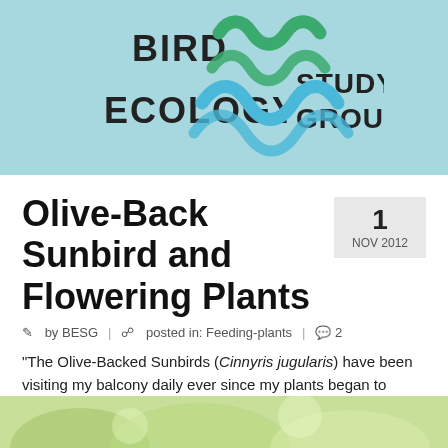[Figure (logo): Bird Ecology Study Group logo with stylized wave/mountain shapes in green and blue on light teal background]
Olive-Back Sunbird and Flowering Plants
1 NOV 2012
by BESG | posted in: Feeding-plants | 2
“The Olive-Backed Sunbirds (Cinnyris jugularis) have been visiting my balcony daily ever since my plants began to flower. Episcia cupreata ‘Acajou’, Lantana camara ‘Hybrida’ and Stachytarpheta indica.
[Figure (photo): Partial bottom image showing plant/nature scene in green tones]